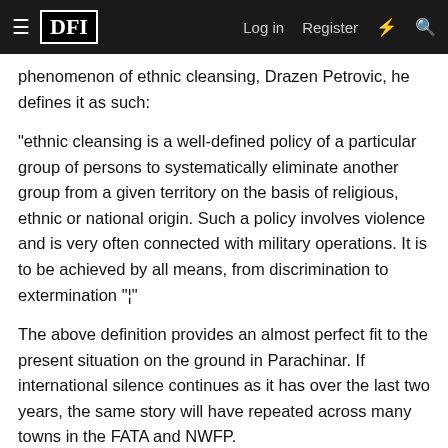DFI — Log in | Register
phenomenon of ethnic cleansing, Drazen Petrovic, he defines it as such:
"ethnic cleansing is a well-defined policy of a particular group of persons to systematically eliminate another group from a given territory on the basis of religious, ethnic or national origin. Such a policy involves violence and is very often connected with military operations. It is to be achieved by all means, from discrimination to extermination "¦"
The above definition provides an almost perfect fit to the present situation on the ground in Parachinar. If international silence continues as it has over the last two years, the same story will have repeated across many towns in the FATA and NWFP.
That the Pakistani government holds principal blame for its failure to restrain the killings is indisputable and goes without mention. Wider global apathy to an ongoing project of ethnic cleansing however, is certainly not comprehensible and deserves a great deal of mention.